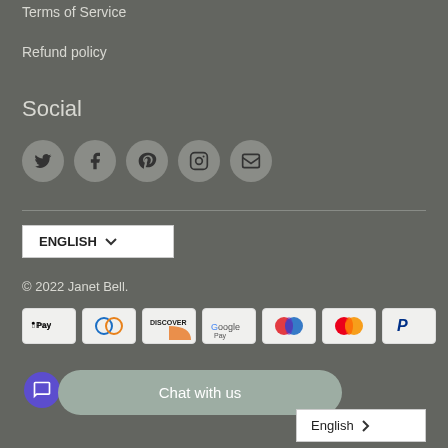Terms of Service
Refund policy
Social
[Figure (other): Social media icons: Twitter, Facebook, Pinterest, Instagram, Email — circular grey buttons]
ENGLISH ∨
© 2022 Janet Bell.
[Figure (other): Payment method icons: Apple Pay, Diners Club, Discover, Google Pay, Maestro, Mastercard, PayPal]
Chat with us
English >